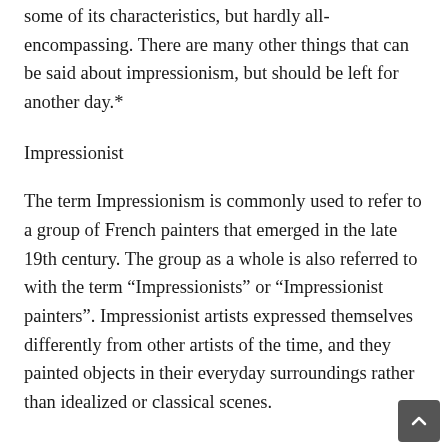some of its characteristics, but hardly all-encompassing. There are many other things that can be said about impressionism, but should be left for another day.*
Impressionist
The term Impressionism is commonly used to refer to a group of French painters that emerged in the late 19th century. The group as a whole is also referred to with the term “Impressionists” or “Impressionist painters”. Impressionist artists expressed themselves differently from other artists of the time, and they painted objects in their everyday surroundings rather than idealized or classical scenes.